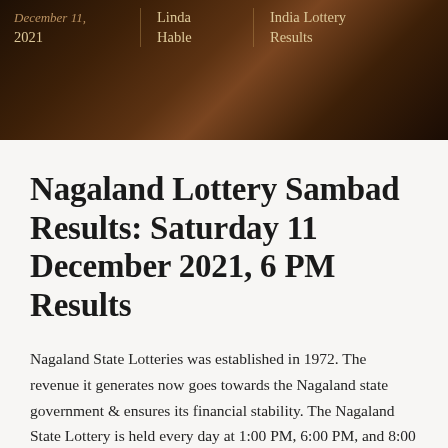December 11, 2021 | Linda Hable | India Lottery Results
Nagaland Lottery Sambad Results: Saturday 11 December 2021, 6 PM Results
Nagaland State Lotteries was established in 1972. The revenue it generates now goes towards the Nagaland state government & ensures its financial stability. The Nagaland State Lottery is held every day at 1:00 PM, 6:00 PM, and 8:00 PM.